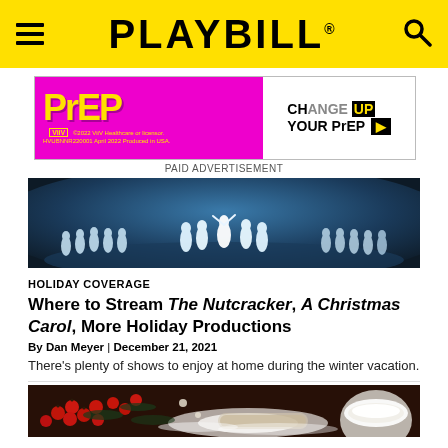PLAYBILL
[Figure (photo): Advertisement for PrEP medication with pink background and 'CHANGE UP YOUR PrEP' text on white]
PAID ADVERTISEMENT
[Figure (photo): Ballet dancers in white tutus on a lit stage with blue lighting]
HOLIDAY COVERAGE
Where to Stream The Nutcracker, A Christmas Carol, More Holiday Productions
By Dan Meyer | December 21, 2021
There's plenty of shows to enjoy at home during the winter vacation.
[Figure (photo): Holiday themed photo with red berries, pine branches, and powdered sugar on dark background]